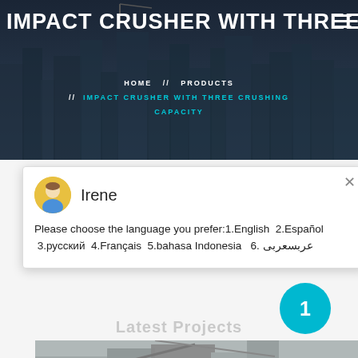IMPACT CRUSHER WITH THREE
HOME // PRODUCTS // IMPACT CRUSHER WITH THREE CRUSHING CAPACITY
[Figure (screenshot): Chat widget with avatar of Irene and language selection message. Message reads: Please choose the language you prefer:1.English 2.Español 3.русский 4.Français 5.bahasa Indonesia 6. عربسعربى]
Latest Projects
1
[Figure (photo): Industrial crusher machinery installation in a factory or plant setting]